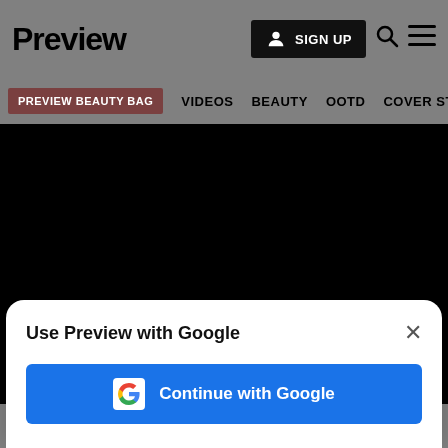Preview
SIGN UP
[Figure (screenshot): Navigation bar with PREVIEW BEAUTY BAG (active), VIDEOS, BEAUTY, OOTD, COVER STORIES]
[Figure (photo): Black content area (video or image placeholder)]
Use Preview with Google
Continue with Google